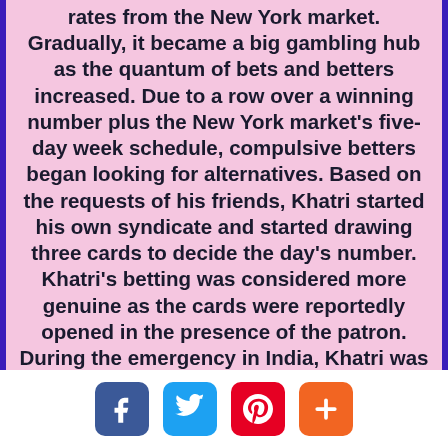rates from the New York market. Gradually, it became a big gambling hub as the quantum of bets and betters increased. Due to a row over a winning number plus the New York market's five-day week schedule, compulsive betters began looking for alternatives. Based on the requests of his friends, Khatri started his own syndicate and started drawing three cards to decide the day's number. Khatri's betting was considered more genuine as the cards were reportedly opened in the presence of the patron. During the emergency in India, Khatri was jailed and served 19 months behind bars. He has retired from the gambling business and lives near Tardeo; however, he still does visit the Mahalaxmi Racecourse to bet on his favorite horses.
[Figure (infographic): Social share buttons: Facebook, Twitter, Pinterest, and a plus/more button]